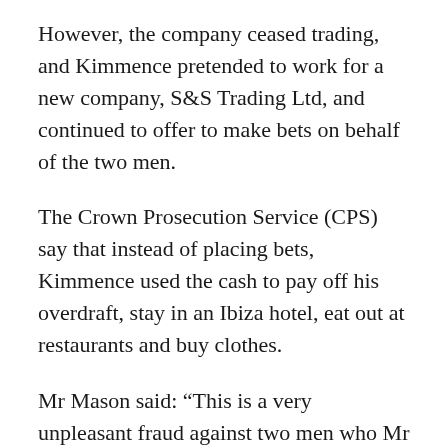However, the company ceased trading, and Kimmence pretended to work for a new company, S&S Trading Ltd, and continued to offer to make bets on behalf of the two men.
The Crown Prosecution Service (CPS) say that instead of placing bets, Kimmence used the cash to pay off his overdraft, stay in an Ibiza hotel, eat out at restaurants and buy clothes.
Mr Mason said: “This is a very unpleasant fraud against two men who Mr Kimmence deliberately targeted.
Subscribe to the Backstage podcast on Apple Podcasts, Google Podcasts, Spotify, Spreaker
“He targeted them because they were old, vulnerable and